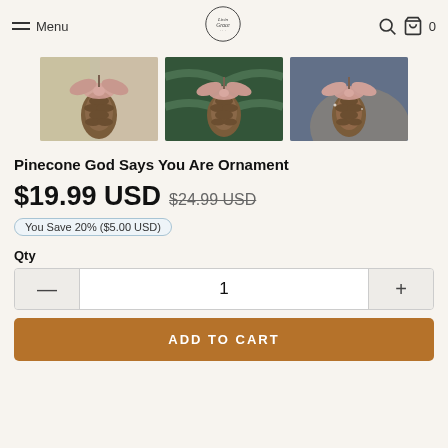Menu | LivinGrace | Search | Cart 0
[Figure (photo): Three thumbnail photos of a pinecone ornament with a pink bow, shown hanging on a Christmas tree from different angles]
Pinecone God Says You Are Ornament
$19.99 USD $24.99 USD
You Save 20% ($5.00 USD)
Qty
1
ADD TO CART